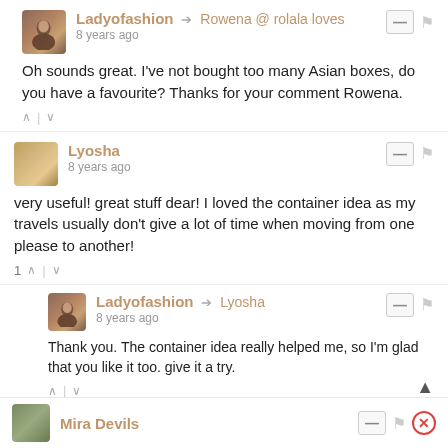Ladyofashion → Rowena @ rolala loves
8 years ago
Oh sounds great. I've not bought too many Asian boxes, do you have a favourite? Thanks for your comment Rowena.
Lyosha
8 years ago
very useful! great stuff dear! I loved the container idea as my travels usually don't give a lot of time when moving from one please to another!
Ladyofashion → Lyosha
8 years ago
Thank you. The container idea really helped me, so I'm glad that you like it too. give it a try.
Mira Devils